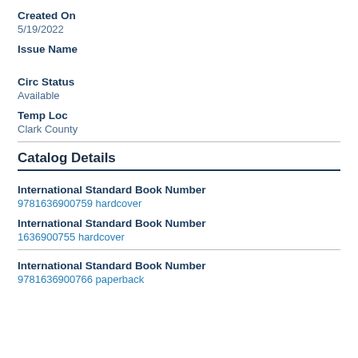Created On
5/19/2022
Issue Name
Circ Status
Available
Temp Loc
Clark County
Catalog Details
International Standard Book Number
9781636900759 hardcover
International Standard Book Number
1636900755 hardcover
International Standard Book Number
9781636900766 paperback